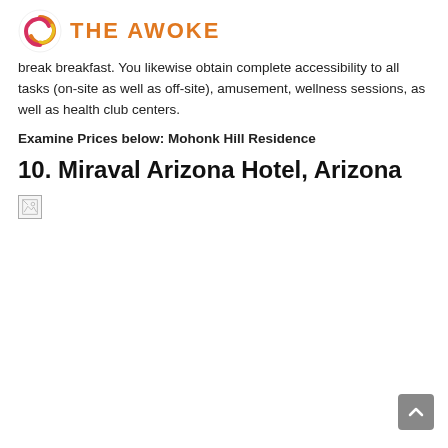The Awoke
break breakfast. You likewise obtain complete accessibility to all tasks (on-site as well as off-site), amusement, wellness sessions, as well as health club centers.
Examine Prices below: Mohonk Hill Residence
10. Miraval Arizona Hotel, Arizona
[Figure (photo): Broken image placeholder for Miraval Arizona Hotel photo]